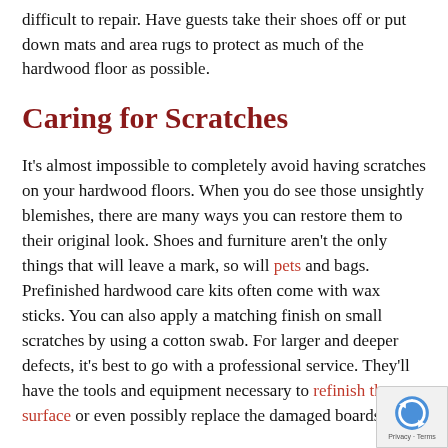difficult to repair. Have guests take their shoes off or put down mats and area rugs to protect as much of the hardwood floor as possible.
Caring for Scratches
It's almost impossible to completely avoid having scratches on your hardwood floors. When you do see those unsightly blemishes, there are many ways you can restore them to their original look. Shoes and furniture aren't the only things that will leave a mark, so will pets and bags. Prefinished hardwood care kits often come with wax sticks. You can also apply a matching finish on small scratches by using a cotton swab. For larger and deeper defects, it's best to go with a professional service. They'll have the tools and equipment necessary to refinish the surface or even possibly replace the damaged boards.